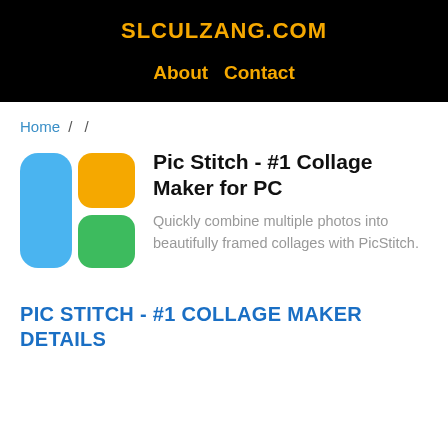SLCULZANG.COM
About  Contact
Home /  /
Pic Stitch - #1 Collage Maker for PC
Quickly combine multiple photos into beautifully framed collages with PicStitch.
PIC STITCH - #1 COLLAGE MAKER DETAILS